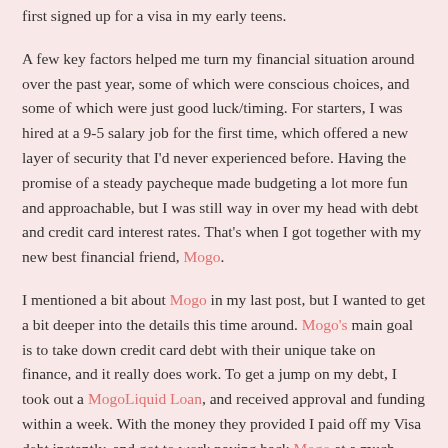first signed up for a visa in my early teens.
A few key factors helped me turn my financial situation around over the past year, some of which were conscious choices, and some of which were just good luck/timing. For starters, I was hired at a 9-5 salary job for the first time, which offered a new layer of security that I'd never experienced before. Having the promise of a steady paycheque made budgeting a lot more fun and approachable, but I was still way in over my head with debt and credit card interest rates. That's when I got together with my new best financial friend, Mogo.
I mentioned a bit about Mogo in my last post, but I wanted to get a bit deeper into the details this time around. Mogo's main goal is to take down credit card debt with their unique take on finance, and it really does work. To get a jump on my debt, I took out a MogoLiquid Loan, and received approval and funding within a week. With the money they provided I paid off my Visa debt instantly, and got to work paying back Mogo at a much lower interest rate. I went from borrowing on a credit